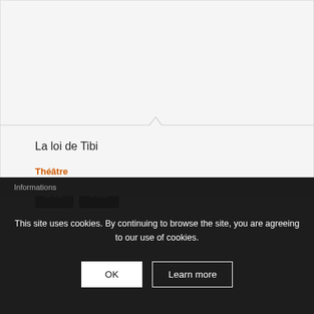La loi de Tibi
Théâtre
[Figure (other): DVD and VOD format badges in grey]
This site uses cookies. By continuing to browse the site, you are agreeing to our use of cookies.
OK
Learn more
Informations